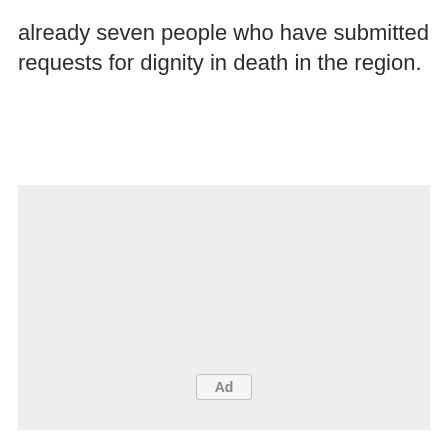already seven people who have submitted requests for dignity in death in the region.
[Figure (other): Advertisement placeholder box with 'Ad' label centered near the bottom of a light gray rectangle.]